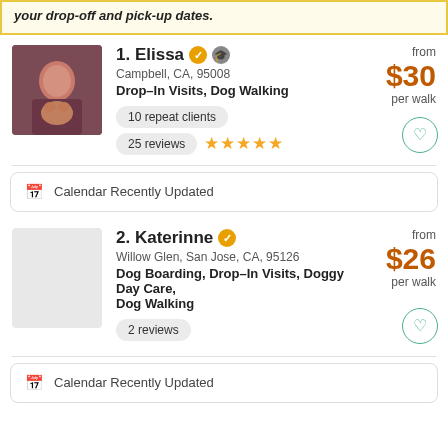your drop-off and pick-up dates.
1. Elissa — Campbell, CA, 95008 — Drop-In Visits, Dog Walking — 10 repeat clients — 25 reviews ★★★★★ — from $30 per walk
Calendar Recently Updated
2. Katerinne — Willow Glen, San Jose, CA, 95126 — Dog Boarding, Drop-In Visits, Doggy Day Care, Dog Walking — 2 reviews — from $26 per walk
Calendar Recently Updated